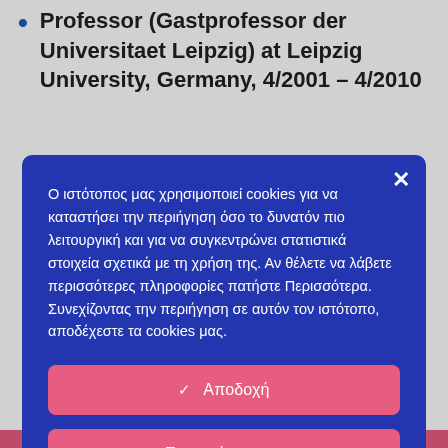Professor (Gastprofessor der Universitaet Leipzig) at Leipzig University, Germany, 4/2001 – 4/2010
Ο ιστότοπος μας χρησιμοποιεί cookies για να καταστήσει την περιήγηση όσο το δυνατόν πιο λειτουργική και για να συγκεντρώνει στατιστικά στοιχεία σχετικά με τη χρήση της. Αν θέλετε να λάβετε περισσότερες πληροφορίες πατήστε Περισσότερα. Συνεχίζοντας την περιήγηση σε αυτόν τον ιστότοπο, αποδέχεστε τα cookies μας.
✓ Αποδοχή
Περισσότερα →
Ρυθμίσεις ⚙